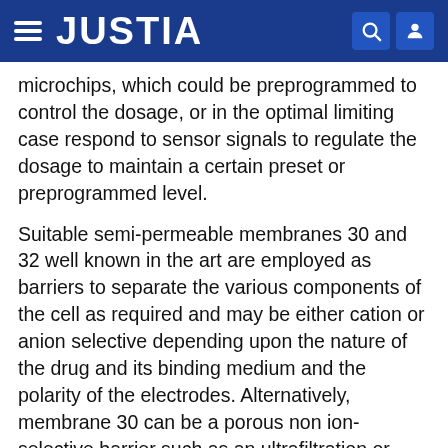JUSTIA
microchips, which could be preprogrammed to control the dosage, or in the optimal limiting case respond to sensor signals to regulate the dosage to maintain a certain preset or preprogrammed level.
Suitable semi-permeable membranes 30 and 32 well known in the art are employed as barriers to separate the various components of the cell as required and may be either cation or anion selective depending upon the nature of the drug and its binding medium and the polarity of the electrodes. Alternatively, membrane 30 can be a porous non ion-selective barrier such as an ultrafiltration or microfiltration membrane which are well known in the art. Although the cell can operate without positioning a semi-permeable barrier 30 between the drug reservoir 12 and the hydrophilic reservoir 16, it is preferred that such barrier be present.